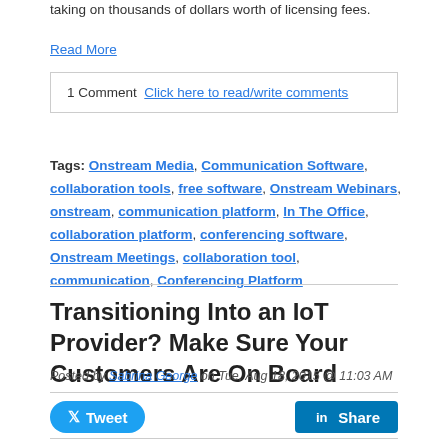taking on thousands of dollars worth of licensing fees.
Read More
1 Comment Click here to read/write comments
Tags: Onstream Media, Communication Software, collaboration tools, free software, Onstream Webinars, onstream, communication platform, In The Office, collaboration platform, conferencing software, Onstream Meetings, collaboration tool, communication, Conferencing Platform
Transitioning Into an IoT Provider? Make Sure Your Customers Are On Board
Posted by Sabrina George on Tue, Aug 18, 2015 @ 11:03 AM
Right now, your brand is undergoing a massive transformation as many of its...